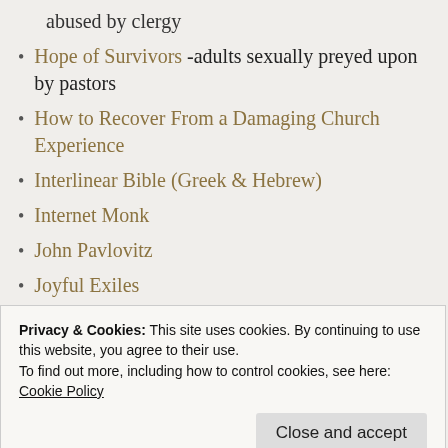abused by clergy
Hope of Survivors -adults sexually preyed upon by pastors
How to Recover From a Damaging Church Experience
Interlinear Bible (Greek & Hebrew)
Internet Monk
John Pavlovitz
Joyful Exiles
Junia Project
Leslie Vernick - Christ-Centered Counseling
Privacy & Cookies: This site uses cookies. By continuing to use this website, you agree to their use.
To find out more, including how to control cookies, see here: Cookie Policy
Matt Bays -former pastor/recovery from